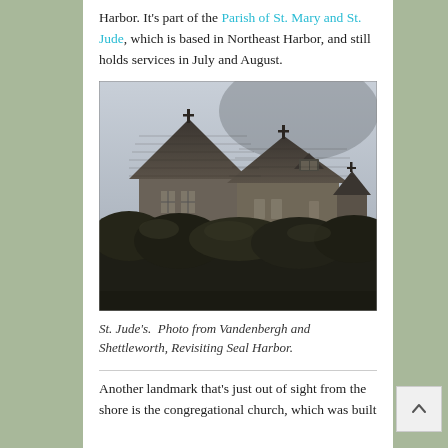Harbor. It's part of the Parish of St. Mary and St. Jude, which is based in Northeast Harbor, and still holds services in July and August.
[Figure (photo): Black and white historical photograph of St. Jude's church, a shingle-style building with steep gabled roofs and crosses at the peaks, surrounded by overgrown shrubs and vegetation.]
St. Jude's. Photo from Vandenbergh and Shettleworth, Revisiting Seal Harbor.
Another landmark that's just out of sight from the shore is the congregational church, which was built